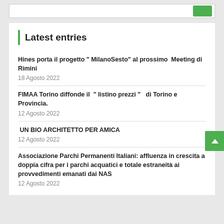Latest entries
Hines porta il progetto “ MilanoSesto” al prossimo Meeting di Rimini
18 Agosto 2022
FIMAA Torino diffonde il “ listino prezzi ” di Torino e Provincia.
12 Agosto 2022
UN BIO ARCHITETTO PER AMICA
12 Agosto 2022
Associazione Parchi Permanenti Italiani: affluenza in crescita a doppia cifra per i parchi acquatici e totale estraneità ai provvedimenti emanati dai NAS
12 Agosto 2022